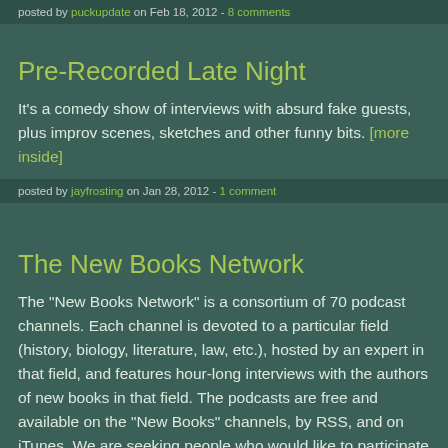posted by puckupdate on Feb 18, 2012 - 8 comments
Pre-Recorded Late Night
It's a comedy show of interviews with absurd fake guests, plus improv scenes, sketches and other funny bits. [more inside]
posted by jayfrosting on Jan 28, 2012 - 1 comment
The New Books Network
The "New Books Network" is a consortium of 70 podcast channels. Each channel is devoted to a particular field (history, biology, literature, law, etc.), hosted by an expert in that field, and features hour-long interviews with the authors of new books in that field. The podcasts are free and available on the "New Books" channels, by RSS, and on iTunes. We are seeking people who would like to participate